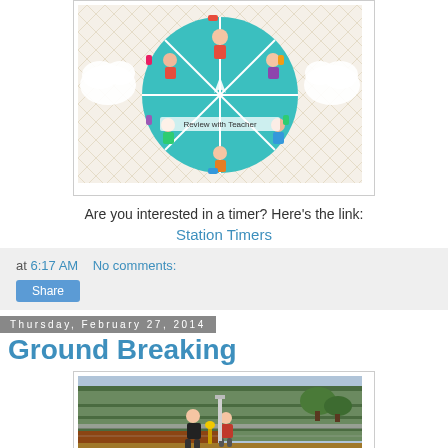[Figure (illustration): Colorful classroom activity spinner wheel showing cartoon children doing educational activities, with 'Review with Teacher' label visible. Decorative cloud shapes around the edge on a patterned background.]
Are you interested in a timer?  Here's the link:
Station Timers
at 6:17 AM    No comments:
Share
Thursday, February 27, 2014
Ground Breaking
[Figure (photo): Outdoor photo of two people standing near a construction fence in front of a building with green metal siding, with dirt/soil visible in the foreground.]